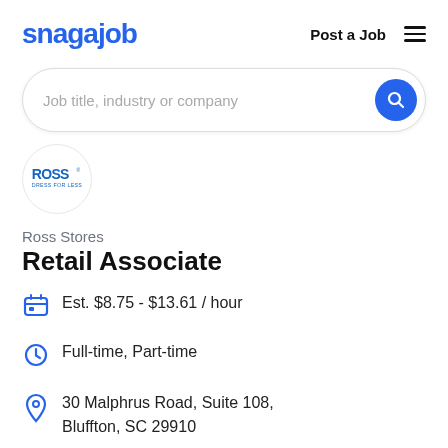snagajob   Post a Job
Job title, industry or company
[Figure (logo): Ross Dress for Less logo in a circle]
Ross Stores
Retail Associate
Est. $8.75 - $13.61 / hour
Full-time, Part-time
30 Malphrus Road, Suite 108, Bluffton, SC 29910